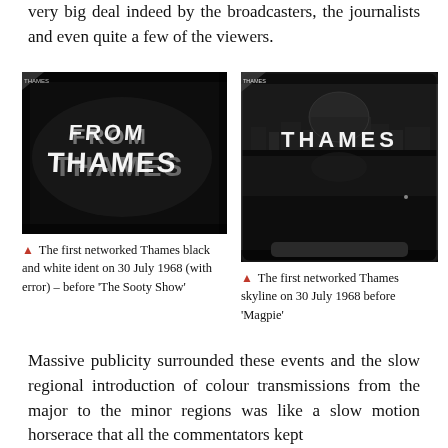very big deal indeed by the broadcasters, the journalists and even quite a few of the viewers.
[Figure (photo): Black and white TV screen showing 'FROM THAMES' text ident, grainy monochrome image]
▲ The first networked Thames black and white ident on 30 July 1968 (with error) – before 'The Sooty Show'
[Figure (photo): Black and white TV screen showing Thames skyline logo with 'THAMES' text and city skyline reflection]
▲ The first networked Thames skyline on 30 July 1968 before 'Magpie'
Massive publicity surrounded these events and the slow regional introduction of colour transmissions from the major to the minor regions was like a slow motion horserace that all the commentators kept